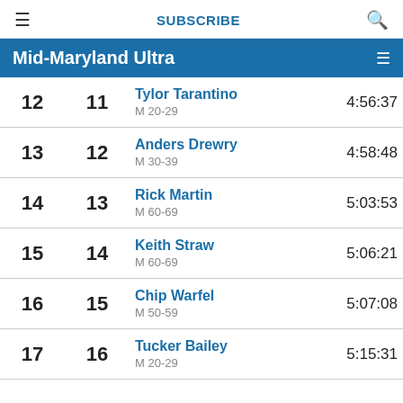≡  SUBSCRIBE  🔍
Mid-Maryland Ultra
| Overall | Gender | Name / Age Group | Time |
| --- | --- | --- | --- |
| 12 | 11 | Tylor Tarantino M 20-29 | 4:56:37 |
| 13 | 12 | Anders Drewry M 30-39 | 4:58:48 |
| 14 | 13 | Rick Martin M 60-69 | 5:03:53 |
| 15 | 14 | Keith Straw M 60-69 | 5:06:21 |
| 16 | 15 | Chip Warfel M 50-59 | 5:07:08 |
| 17 | 16 | Tucker Bailey M 20-29 | 5:15:31 |